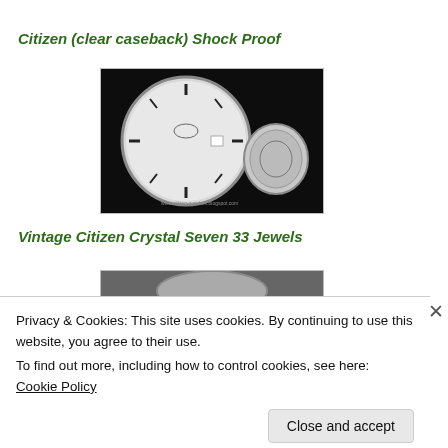Citizen (clear caseback) Shock Proof
[Figure (photo): Photo of a Citizen watch face and caseback on dark background]
Vintage Citizen Crystal Seven 33 Jewels
[Figure (photo): Partial photo of a vintage Citizen Crystal Seven 33 Jewels watch]
Privacy & Cookies: This site uses cookies. By continuing to use this website, you agree to their use.
To find out more, including how to control cookies, see here: Cookie Policy
Close and accept